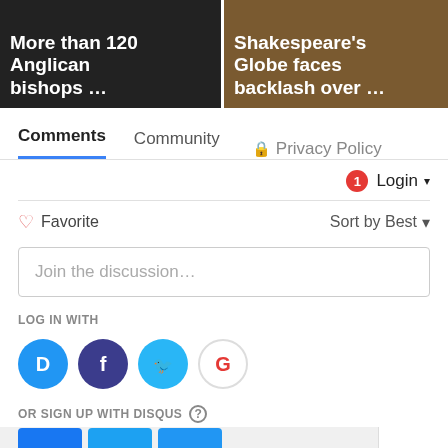[Figure (screenshot): Two news thumbnail images side by side. Left: dark image with white bold text 'More than 120 Anglican bishops ...'. Right: ornate image with white bold text 'Shakespeare's Globe faces backlash over ...']
Comments  Community  Privacy Policy
1  Login ▾
♡ Favorite    Sort by Best ▾
Join the discussion...
LOG IN WITH
[Figure (logo): Four social login icons: Disqus (blue circle with D), Facebook (dark blue circle with f), Twitter (light blue circle with bird), Google (white/red circle with G)]
OR SIGN UP WITH DISQUS ?
[Figure (screenshot): Bottom bar with Facebook (blue square), Twitter (blue square), Email (blue square) buttons, and Home > link on right]